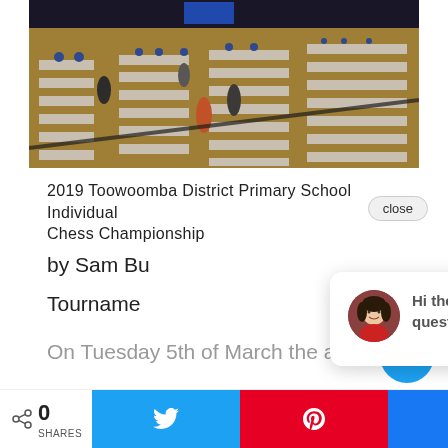[Figure (photo): Aerial/overhead view of a large school chess tournament in a gymnasium hall. Many children are seated at tables arranged in rows playing chess. Some adults stand in the aisles. Chess boards are visible on all tables.]
2019 Toowoomba District Primary School Individual Chess Championship
close
by Sam Bu
Tourname
On Tuesday 5th of March the annual
[Figure (screenshot): Chat popup widget with a woman's avatar photo and text: Hi there, have a question? Text us here.]
0
SHARES